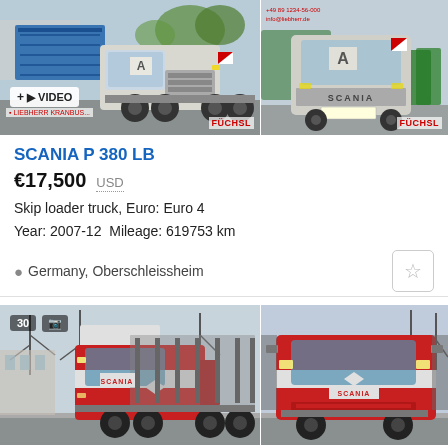[Figure (photo): Two photos of a SCANIA P 380 LB skip loader truck (gray/white), with '+VIDEO' badge on left photo and 'FÜCHSL' dealer badge. Left photo shows truck from side-front angle with blue container, right photo shows front view.]
SCANIA P 380 LB
€17,500  USD
Skip loader truck, Euro: Euro 4
Year: 2007-12  Mileage: 619753 km
Germany, Oberschleissheim
[Figure (photo): Two photos of a red and white SCANIA timber/logging truck with stakes, shown from front-left angle in both photos. Photo count badge shows '30'.]